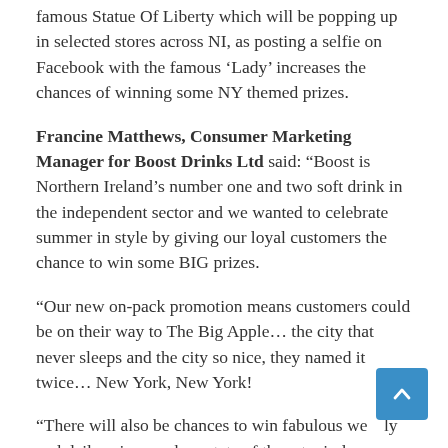famous Statue Of Liberty which will be popping up in selected stores across NI, as posting a selfie on Facebook with the famous ‘Lady’ increases the chances of winning some NY themed prizes.
Francine Matthews, Consumer Marketing Manager for Boost Drinks Ltd said: “Boost is Northern Ireland’s number one and two soft drink in the independent sector and we wanted to celebrate summer in style by giving our loyal customers the chance to win some BIG prizes.
“Our new on-pack promotion means customers could be on their way to The Big Apple… the city that never sleeps and the city so nice, they named it twice… New York, New York!
“There will also be chances to win fabulous weekly and daily prizes such as state of the art wireless